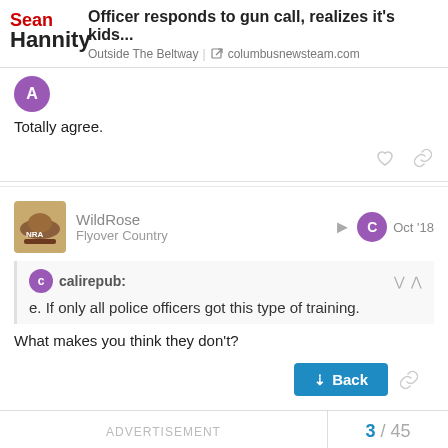Officer responds to gun call, realizes it's kids... | Outside The Beltway | columbusnewsteam.com
Totally agree.
WildRose
Flyover Country
Oct '18
calirepub:
e. If only all police officers got this type of training.
What makes you think they don't?
ADVERTISEMENT
3 / 45